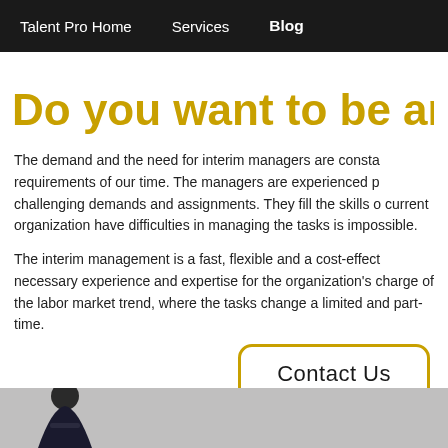Talent Pro Home   Services   Blog
Do you want to be an In
The demand and the need for interim managers are consta requirements of our time. The managers are experienced p challenging demands and assignments. They fill the skills o current organization have difficulties in managing the tasks is impossible.
The interim management is a fast, flexible and a cost-effect necessary experience and expertise for the organization's charge of the labor market trend, where the tasks change a limited and part-time.
[Figure (other): Contact Us button with gold rounded border]
[Figure (photo): Photo of a person in a suit at the bottom of the page]